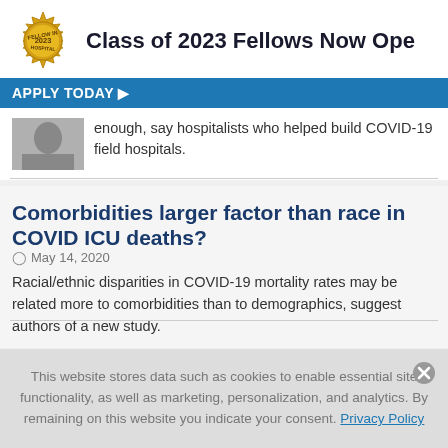[Figure (logo): Gold fellow badge/seal with '2023' text and a man's portrait below]
Class of 2023 Fellows Now Ope
APPLY TODAY ▶
enough, say hospitalists who helped build COVID-19 field hospitals.
Comorbidities larger factor than race in COVID ICU deaths?
May 14, 2020
Racial/ethnic disparities in COVID-19 mortality rates may be related more to comorbidities than to demographics, suggest authors of a new study.
This website stores data such as cookies to enable essential site functionality, as well as marketing, personalization, and analytics. By remaining on this website you indicate your consent. Privacy Policy